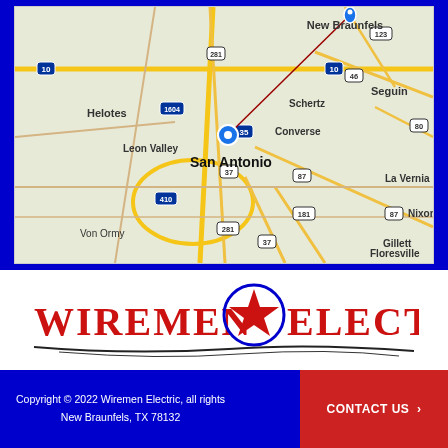[Figure (map): Google Maps view of San Antonio, TX area showing New Braunfels, Seguin, Helotes, Leon Valley, Schertz, Converse, La Vernia, Von Ormy, Floresville, Gillett, Nixon. A location pin is placed on San Antonio and a line extends to New Braunfels area.]
[Figure (logo): Wiremen Electric logo with red star in blue circle between the words, red serif text on white background with decorative underline]
Copyright © 2022 Wiremen Electric, all rights New Braunfels, TX 78132   CONTACT US >